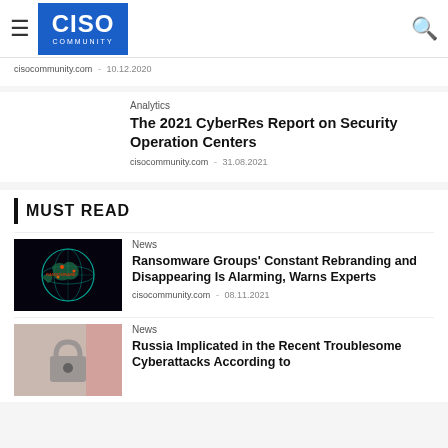CISO COMMUNITY
cisocommunity.com - 10.12.2020
Analytics
The 2021 CyberRes Report on Security Operation Centers
cisocommunity.com - 31.08.2021
MUST READ
[Figure (photo): Globe with network connections and ransomware text overlay on dark background]
News
Ransomware Groups' Constant Rebranding and Disappearing Is Alarming, Warns Experts
cisocommunity.com - 08.11.2021
[Figure (photo): Partial image showing a padlock with pink/red color overlay]
News
Russia Implicated in the Recent Troublesome Cyberattacks According to